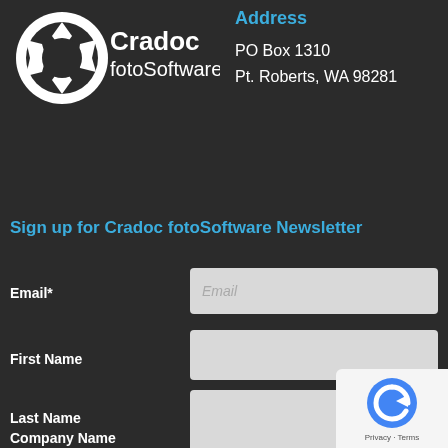[Figure (logo): Cradoc fotoSoftware logo — circular camera aperture icon with 'Cradoc fotoSoftware' text in white on dark background]
Address
PO Box 1310
Pt. Roberts, WA 98281
Sign up for Cradoc fotoSoftware Newsletter
Email*
First Name
Last Name
Company Name
[Figure (logo): Google reCAPTCHA badge with circular refresh icon and 'Privacy · Terms' text]